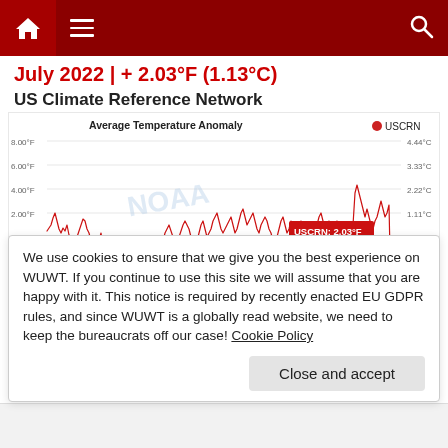Navigation bar with home, menu, and search icons
July 2022 | + 2.03°F (1.13°C)
US Climate Reference Network
[Figure (continuous-plot): Line chart showing US Climate Reference Network (USCRN) average temperature anomaly over time. The y-axis on the left shows values from approximately -4.00°F to 8.00°F; the right y-axis shows values in Celsius from about -2.22°C to 4.44°C. The line is red/dark red and shows high variability with spikes up to ~8°F and dips to ~-4°F. A tooltip shows USCRN: 2.03°F near the right end of the chart. Legend shows a red dot labeled USCRN.]
We use cookies to ensure that we give you the best experience on WUWT. If you continue to use this site we will assume that you are happy with it. This notice is required by recently enacted EU GDPR rules, and since WUWT is a globally read website, we need to keep the bureaucrats off our case! Cookie Policy
Close and accept